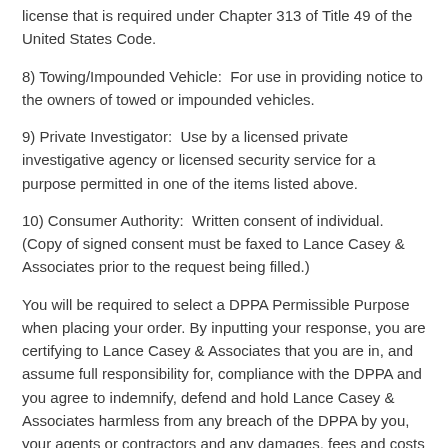license that is required under Chapter 313 of Title 49 of the United States Code.
8) Towing/Impounded Vehicle:  For use in providing notice to the owners of towed or impounded vehicles.
9) Private Investigator:  Use by a licensed private investigative agency or licensed security service for a purpose permitted in one of the items listed above.
10) Consumer Authority:  Written consent of individual. (Copy of signed consent must be faxed to Lance Casey & Associates prior to the request being filled.)
You will be required to select a DPPA Permissible Purpose when placing your order. By inputting your response, you are certifying to Lance Casey & Associates that you are in, and assume full responsibility for, compliance with the DPPA and you agree to indemnify, defend and hold Lance Casey & Associates harmless from any breach of the DPPA by you, your agents or contractors and any damages, fees and costs associated therewith. Information from this